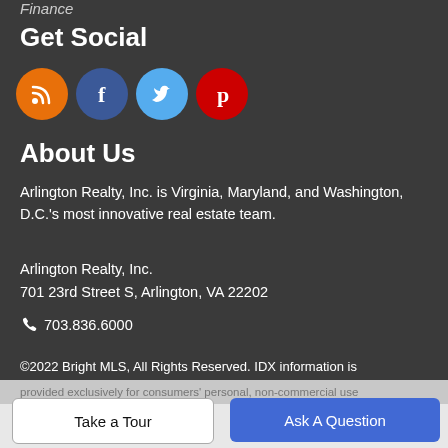Finance
Get Social
[Figure (illustration): Four social media icon circles: RSS (orange), Facebook (dark blue), Twitter (light blue), Pinterest (red)]
About Us
Arlington Realty, Inc. is Virginia, Maryland, and Washington, D.C.'s most innovative real estate team.
Arlington Realty, Inc.
701 23rd Street S, Arlington, VA 22202
703.836.6000
©2022 Bright MLS, All Rights Reserved. IDX information is provided exclusively for consumers' personal, non-commercial use
Take a Tour
Ask A Question